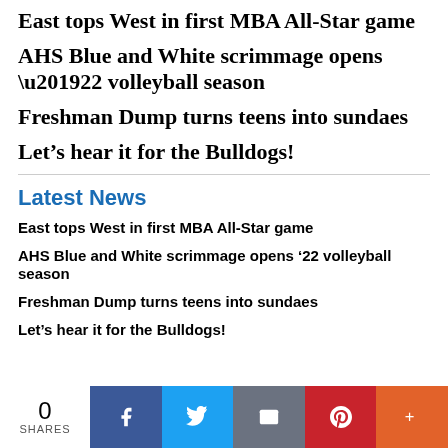East tops West in first MBA All-Star game
AHS Blue and White scrimmage opens ’22 volleyball season
Freshman Dump turns teens into sundaes
Let’s hear it for the Bulldogs!
Latest News
East tops West in first MBA All-Star game
AHS Blue and White scrimmage opens ’22 volleyball season
Freshman Dump turns teens into sundaes
Let’s hear it for the Bulldogs!